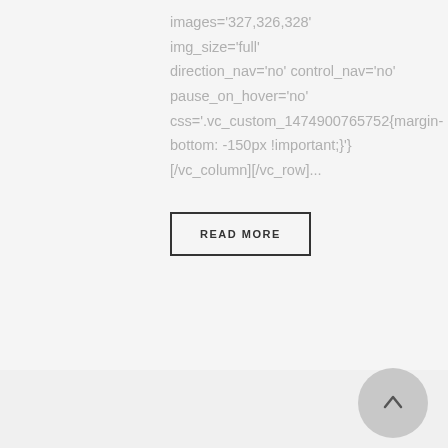images='327,326,328' img_size='full' direction_nav='no' control_nav='no' pause_on_hover='no' css='.vc_custom_1474900765752{margin-bottom: -150px !important;}'] [/vc_column][/vc_row]...
READ MORE
[Figure (other): Scroll to top button - circular grey button with upward arrow]